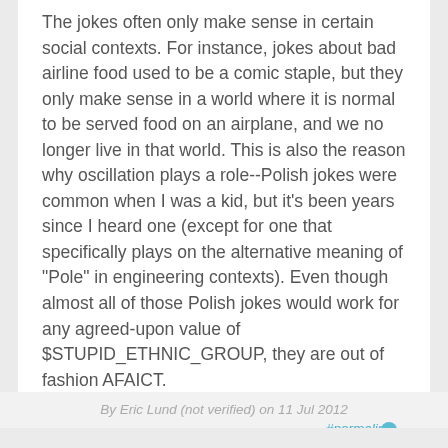The jokes often only make sense in certain social contexts. For instance, jokes about bad airline food used to be a comic staple, but they only make sense in a world where it is normal to be served food on an airplane, and we no longer live in that world. This is also the reason why oscillation plays a role--Polish jokes were common when I was a kid, but it's been years since I heard one (except for one that specifically plays on the alternative meaning of "Pole" in engineering contexts). Even though almost all of those Polish jokes would work for any agreed-upon value of $STUPID_ETHNIC_GROUP, they are out of fashion AFAICT.
Log in to post comments
By Eric Lund (not verified) on 11 Jul 2012
#permalink
[Figure (illustration): Generic user avatar icon in teal/blue color, showing a person silhouette]